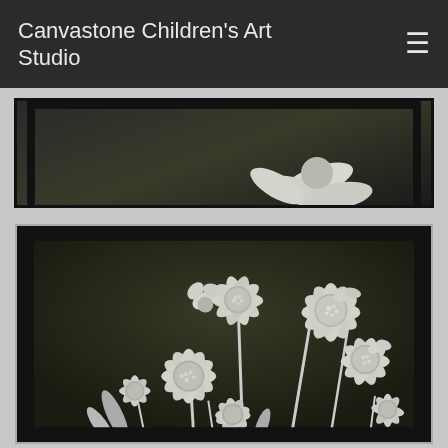Canvastone Children's Art Studio
[Figure (photo): Partial view of a framed artwork at the top of the page — dark background with white floral relief sculpture, partially visible.]
[Figure (photo): A framed artwork showing white daisy/coneflower (echinacea) sculptures in relief against a dark olive-brown background. The three-dimensional white clay flowers with textured centers are arranged in a bouquet composition inside a black frame.]